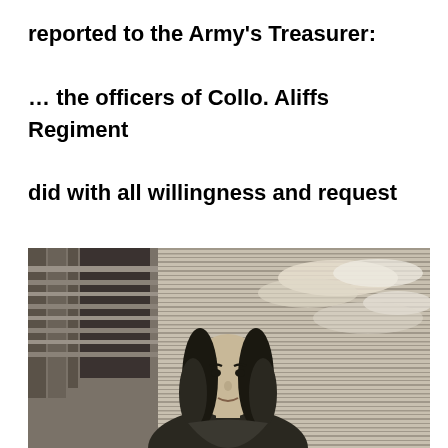reported to the Army's Treasurer:

… the officers of Collo. Aliffs Regiment did with all willingness and request deliver unto us ther men according to order…
[Figure (illustration): Black and white engraving showing a historical figure with long curly hair, dressed in period clothing, with architectural elements (columns, building) in the background and clouds in the sky.]